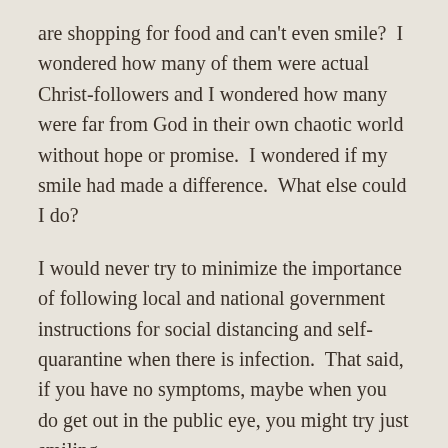are shopping for food and can't even smile?  I wondered how many of them were actual Christ-followers and I wondered how many were far from God in their own chaotic world without hope or promise.  I wondered if my smile had made a difference.  What else could I do?
I would never try to minimize the importance of following local and national government instructions for social distancing and self-quarantine when there is infection.  That said, if you have no symptoms, maybe when you do get out in the public eye, you might try just smiling.